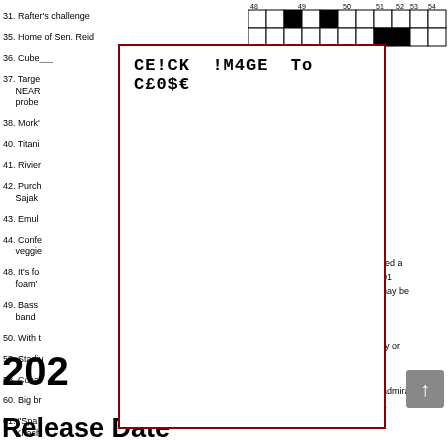[Figure (other): Partial crossword puzzle grid showing numbered squares, some filled black, top-right area of page]
31. Rafter's challenge
35. Home of Sen. Reid
36. Cube___
37. Targe... NEAR... probe...
38. Mork'...
40. Titani...
41. Rivier...
42. Purch... Sajak...
43. Emul...
44. Confe... veggie...
48. It's fo... foam'...
49. Bass... band...
50. With t...
55. Stadiu...
58. Cosa...
60. Big br...
61. "Span... Khach... le brand e sky"
62. Like m... mucila...
63. Kin to...
64. Suffe... sassa...
65. What... conta... does d...
66. Made...
67. Burt's... the co...
CE!CK !M4GE To C£0$€
202
Release Date